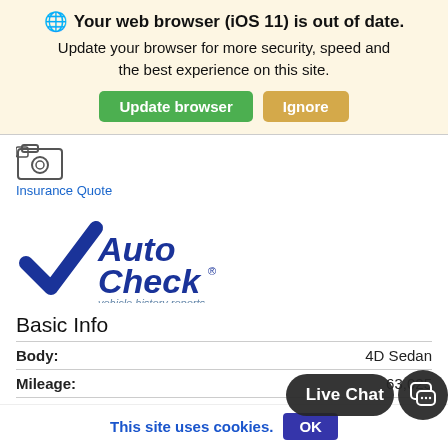🌐 Your web browser (iOS 11) is out of date. Update your browser for more security, speed and the best experience on this site.
Update browser | Ignore
[Figure (logo): Insurance Quote icon with camera/photo symbol and text 'Insurance Quote' as blue link]
[Figure (logo): AutoCheck vehicle history reports logo - blue checkmark with Auto Check text and subtitle 'vehicle history reports']
Basic Info
Body: 4D Sedan
Mileage: 63,025
HWY: 39
City: 21
Live Chat
This site uses cookies. OK